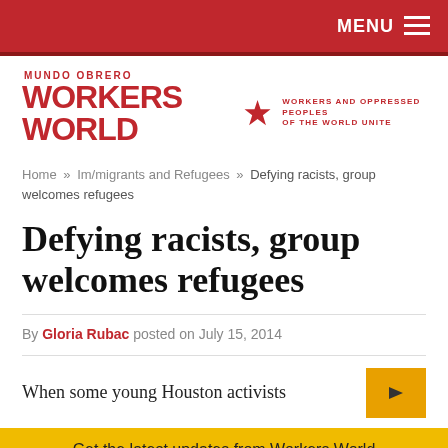MENU
[Figure (logo): Workers World / Mundo Obrero logo with red star and tagline: WORKERS AND OPPRESSED PEOPLES OF THE WORLD UNITE]
Home » Im/migrants and Refugees » Defying racists, group welcomes refugees
Defying racists, group welcomes refugees
By Gloria Rubac posted on July 15, 2014
When some young Houston activists
Get the latest updates from Workers World
Email address
Subscribe